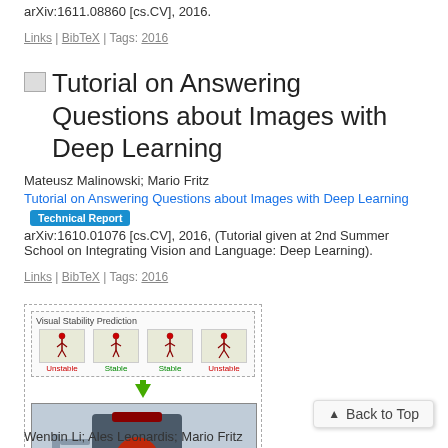arXiv:1611.08860 [cs.CV], 2016.
Links | BibTeX | Tags: 2016
Tutorial on Answering Questions about Images with Deep Learning
Mateusz Malinowski; Mario Fritz
Tutorial on Answering Questions about Images with Deep Learning [Technical Report]
arXiv:1610.01076 [cs.CV], 2016, (Tutorial given at 2nd Summer School on Integrating Vision and Language: Deep Learning).
Links | BibTeX | Tags: 2016
[Figure (photo): A composite image showing Visual Stability Prediction (top, dashed border) with four panels labeled Unstable, Stable, Stable, Unstable showing stick figures, and a robot manipulation image below.]
Wenbin Li; Ales Leonardis; Mario Fritz